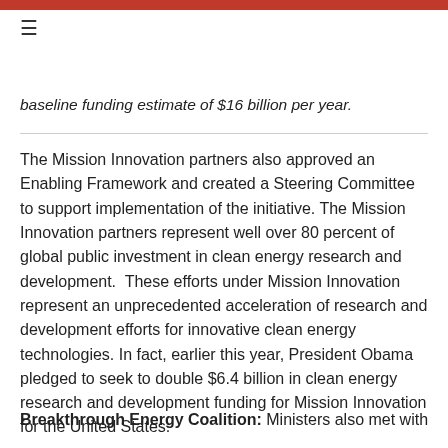≡
baseline funding estimate of $16 billion per year.
The Mission Innovation partners also approved an Enabling Framework and created a Steering Committee to support implementation of the initiative. The Mission Innovation partners represent well over 80 percent of global public investment in clean energy research and development.  These efforts under Mission Innovation represent an unprecedented acceleration of research and development efforts for innovative clean energy technologies. In fact, earlier this year, President Obama pledged to seek to double $6.4 billion in clean energy research and development funding for Mission Innovation for the United States.
Breakthrough Energy Coalition: Ministers also met with